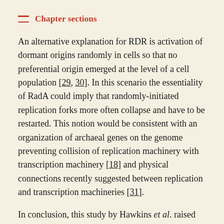Chapter sections
An alternative explanation for RDR is activation of dormant origins randomly in cells so that no preferential origin emerged at the level of a cell population [29, 30]. In this scenario the essentiality of RadA could imply that randomly-initiated replication forks more often collapse and have to be restarted. This notion would be consistent with an organization of archaeal genes on the genome preventing collision of replication machinery with transcription machinery [18] and physical connections recently suggested between replication and transcription machineries [31].
In conclusion, this study by Hawkins et al. raised many interesting questions that need to be experimentally addressed to understand how H.